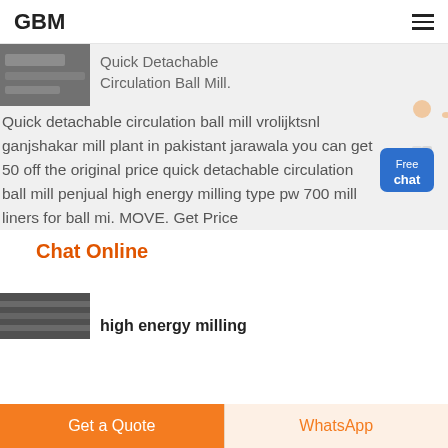GBM
[Figure (photo): Partial photo of industrial milling equipment (top-left corner area)]
Quick Detachable Circulation Ball Mill.
Quick detachable circulation ball mill vrolijktsnl ganjshakar mill plant in pakistant jarawala you can get 50 off the original price quick detachable circulation ball mill penjual high energy milling type pw 700 mill liners for ball mi. MOVE. Get Price
[Figure (illustration): Illustration of a person (woman) pointing, with a blue 'Free chat' button widget]
Chat Online
[Figure (photo): Partial photo of high energy milling industrial equipment]
high energy milling
Get a Quote
WhatsApp